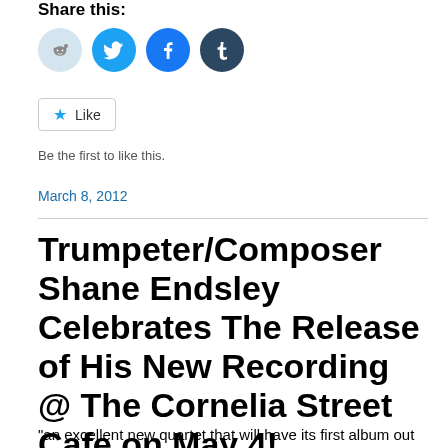Share this:
[Figure (other): Social sharing icons: Reddit (light blue circle), Twitter (blue circle), Facebook (blue circle), Tumblr (dark blue circle)]
★ Like
Be the first to like this.
March 8, 2012
Trumpeter/Composer Shane Endsley Celebrates The Release of His New Recording @ The Cornelia Street Cafe on May 4!
“an excellent new quartet that will have its first album out